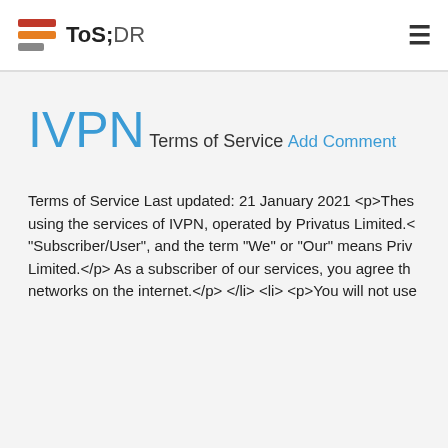ToS;DR
IVPN
Terms of Service
Add Comment
Terms of Service Last updated: 21 January 2021 <p>These using the services of IVPN, operated by Privatus Limited.< "Subscriber/User", and the term "We" or "Our" means Priv Limited.</p> As a subscriber of our services, you agree th networks on the internet.</p> </li> <li> <p>You will not use